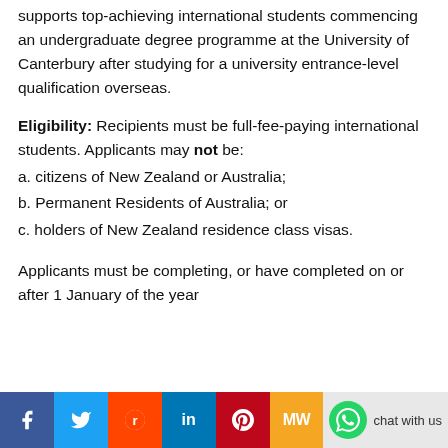supports top-achieving international students commencing an undergraduate degree programme at the University of Canterbury after studying for a university entrance-level qualification overseas.
Eligibility: Recipients must be full-fee-paying international students. Applicants may not be:
a. citizens of New Zealand or Australia;
b. Permanent Residents of Australia; or
c. holders of New Zealand residence class visas.
Applicants must be completing, or have completed on or after 1 January of the year